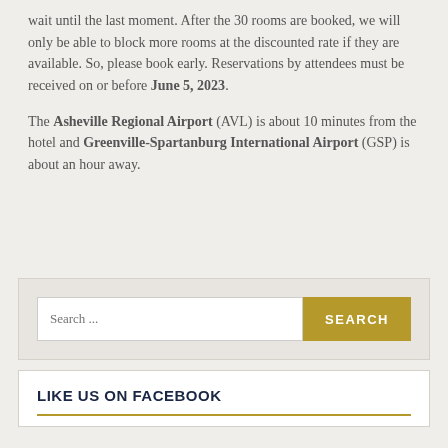wait until the last moment. After the 30 rooms are booked, we will only be able to block more rooms at the discounted rate if they are available. So, please book early. Reservations by attendees must be received on or before June 5, 2023.
The Asheville Regional Airport (AVL) is about 10 minutes from the hotel and Greenville-Spartanburg International Airport (GSP) is about an hour away.
[Figure (other): Search widget with text input field labeled 'Search ...' and a gold 'SEARCH' button]
LIKE US ON FACEBOOK